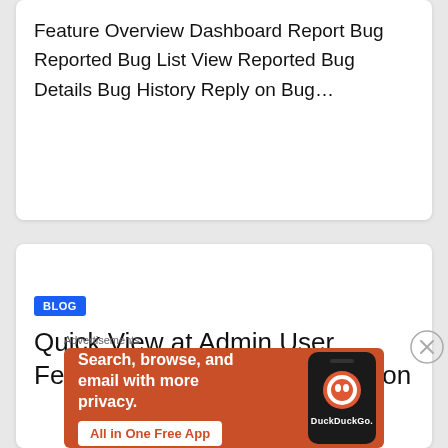Feature Overview Dashboard Report Bug Reported Bug List View Reported Bug Details Bug History Reply on Bug…
BLOG
Quick View at Admin User Features of BugPoint Application
Advertisements
[Figure (other): DuckDuckGo advertisement banner with orange background showing text 'Search, browse, and email with more privacy. All in One Free App' with a phone image and DuckDuckGo logo]